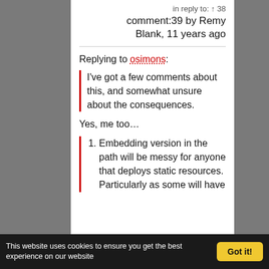in reply to: ↑ 38
comment:39 by Remy Blank, 11 years ago
Replying to osimons:
I've got a few comments about this, and somewhat unsure about the consequences.
Yes, me too...
1. Embedding version in the path will be messy for anyone that deploys static resources. Particularly as some will have
This website uses cookies to ensure you get the best experience on our website
Got it!